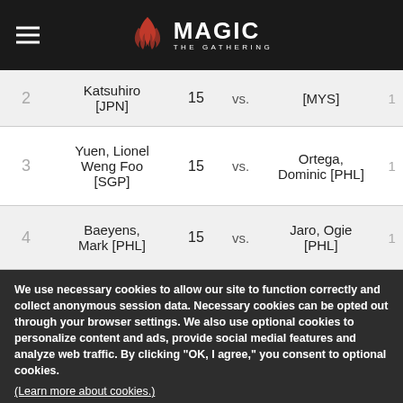Magic: The Gathering navigation bar with hamburger menu and logo
| # | Player 1 | Pts |  | Player 2 | Pts |
| --- | --- | --- | --- | --- | --- |
| 2 | Katsuhiro [JPN] | 15 | vs. | [MYS] | 1 |
| 3 | Yuen, Lionel Weng Foo [SGP] | 15 | vs. | Ortega, Dominic [PHL] | 1 |
| 4 | Baeyens, Mark [PHL] | 15 | vs. | Jaro, Ogie [PHL] | 1 |
We use necessary cookies to allow our site to function correctly and collect anonymous session data. Necessary cookies can be opted out through your browser settings. We also use optional cookies to personalize content and ads, provide social medial features and analyze web traffic. By clicking "OK, I agree," you consent to optional cookies.
(Learn more about cookies.)